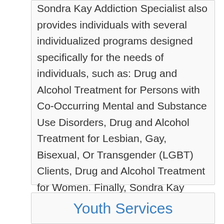Sondra Kay Addiction Specialist also provides individuals with several individualized programs designed specifically for the needs of individuals, such as: Drug and Alcohol Treatment for Persons with Co-Occurring Mental and Substance Use Disorders, Drug and Alcohol Treatment for Lesbian, Gay, Bisexual, Or Transgender (LGBT) Clients, Drug and Alcohol Treatment for Women. Finally, Sondra Kay Addiction Specialist also accepts the following types of payment: Self or Cash Payment, Private Insurance Treatment Coverage.
Youth Services